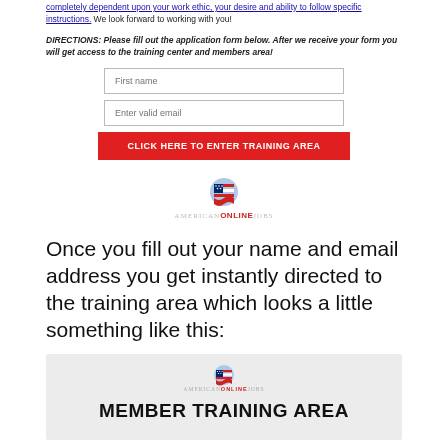completely dependent upon your work ethic, your desire and ability to follow specific instructions. We look forward to working with you!
DIRECTIONS: Please fill out the application form below. After we receive your form you will get access to the training center and members area!
[Figure (screenshot): Web form with First name input, Enter valid email input, and red CLICK HERE TO ENTER TRAINING AREA button]
[Figure (logo): AmericanOnlineJobs logo with American flag graphic]
Once you fill out your name and email address you get instantly directed to the training area which looks a little something like this:
[Figure (screenshot): Screenshot of AmericanOnlineJobs Member Training Area page with logo and bold MEMBER TRAINING AREA heading]